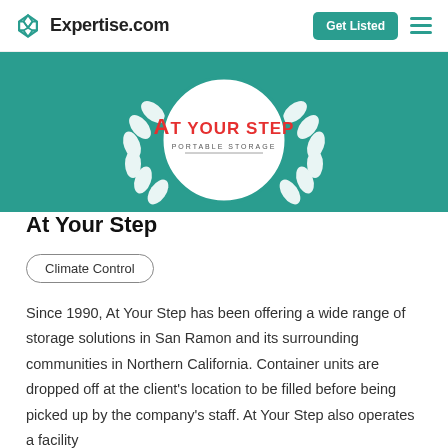Expertise.com   Get Listed
[Figure (logo): At Your Step Portable Storage logo centered in a white circle with a laurel wreath on a teal background banner]
At Your Step
Climate Control
Since 1990, At Your Step has been offering a wide range of storage solutions in San Ramon and its surrounding communities in Northern California. Container units are dropped off at the client's location to be filled before being picked up by the company's staff. At Your Step also operates a facility...